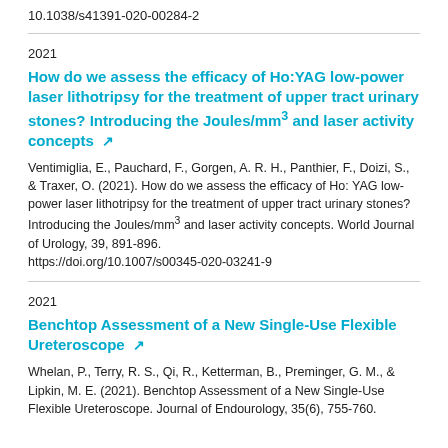10.1038/s41391-020-00284-2
2021
How do we assess the efficacy of Ho:YAG low-power laser lithotripsy for the treatment of upper tract urinary stones? Introducing the Joules/mm³ and laser activity concepts
Ventimiglia, E., Pauchard, F., Gorgen, A. R. H., Panthier, F., Doizi, S., & Traxer, O. (2021). How do we assess the efficacy of Ho: YAG low-power laser lithotripsy for the treatment of upper tract urinary stones? Introducing the Joules/mm³ and laser activity concepts. World Journal of Urology, 39, 891-896. https://doi.org/10.1007/s00345-020-03241-9
2021
Benchtop Assessment of a New Single-Use Flexible Ureteroscope
Whelan, P., Terry, R. S., Qi, R., Ketterman, B., Preminger, G. M., & Lipkin, M. E. (2021). Benchtop Assessment of a New Single-Use Flexible Ureteroscope. Journal of Endourology, 35(6), 755-760.